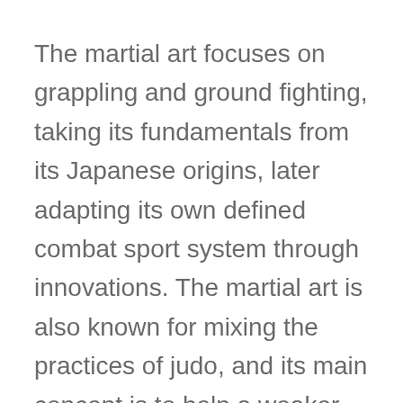The martial art focuses on grappling and ground fighting, taking its fundamentals from its Japanese origins, later adapting its own defined combat sport system through innovations. The martial art is also known for mixing the practices of judo, and its main concept is to help a weaker person to successfully defend themselves against stronger and heavier opponents using technique. The sport is popular for using joint locks and chokeholds to defeat opponents. Sparring and drills are common towards development of a practitioner.